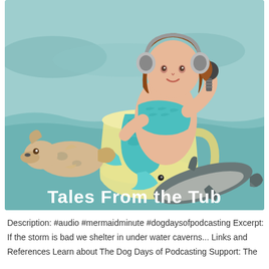[Figure (illustration): Podcast cover art showing a plus-size mermaid wearing headphones and holding a microphone, sitting in a large teacup surrounded by ocean water. To the left is a dog-fish hybrid creature, and to the right is a shark. The background shows a teal/seafoam ocean scene with waves. At the bottom of the illustration bold white text reads 'Tales From the Tub'.]
Description: #audio #mermaidminute #dogdaysofpodcasting Excerpt: If the storm is bad we shelter in under water caverns... Links and References Learn about The Dog Days of Podcasting Support: The